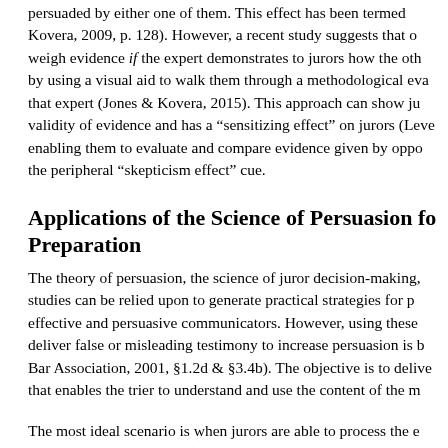persuaded by either one of them. This effect has been termed Kovara, 2009, p. 128). However, a recent study suggests that weigh evidence if the expert demonstrates to jurors how the by using a visual aid to walk them through a methodological that expert (Jones & Kovera, 2015). This approach can show validity of evidence and has a “sensitizing effect” on jurors enabling them to evaluate and compare evidence given by the peripheral “skepticism effect” cue.
Applications of the Science of Persuasion for Preparation
The theory of persuasion, the science of juror decision-making, studies can be relied upon to generate practical strategies for effective and persuasive communicators. However, using these deliver false or misleading testimony to increase persuasion is Bar Association, 2001, §1.2d & §3.4b). The objective is to that enables the trier to understand and use the content of the
The most ideal scenario is when jurors are able to process through central processing). Strategies that attorneys and jud